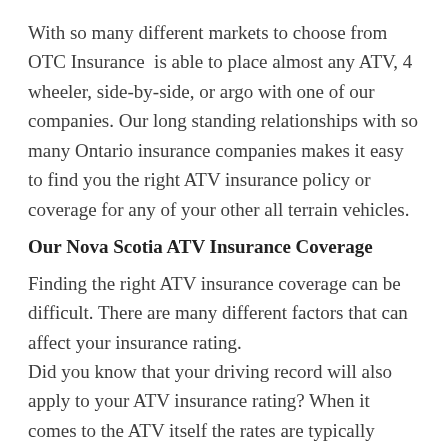With so many different markets to choose from OTC Insurance  is able to place almost any ATV, 4 wheeler, side-by-side, or argo with one of our companies. Our long standing relationships with so many Ontario insurance companies makes it easy to find you the right ATV insurance policy or coverage for any of your other all terrain vehicles.
Our Nova Scotia ATV Insurance Coverage
Finding the right ATV insurance coverage can be difficult. There are many different factors that can affect your insurance rating.
Did you know that your driving record will also apply to your ATV insurance rating? When it comes to the ATV itself the rates are typically dependant on the cc's, size,